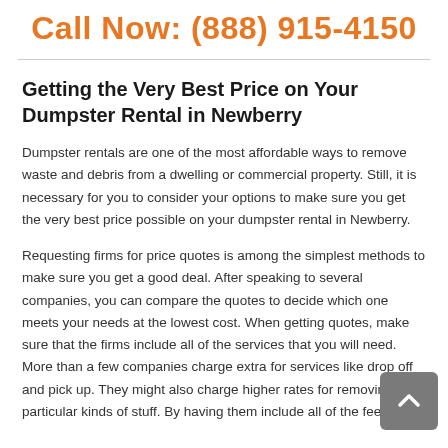Call Now: (888) 915-4150
Getting the Very Best Price on Your Dumpster Rental in Newberry
Dumpster rentals are one of the most affordable ways to remove waste and debris from a dwelling or commercial property. Still, it is necessary for you to consider your options to make sure you get the very best price possible on your dumpster rental in Newberry.
Requesting firms for price quotes is among the simplest methods to make sure you get a good deal. After speaking to several companies, you can compare the quotes to decide which one meets your needs at the lowest cost. When getting quotes, make sure that the firms include all of the services that you will need. More than a few companies charge extra for services like drop off and pick up. They might also charge higher rates for removing particular kinds of stuff. By having them include all of the fees in